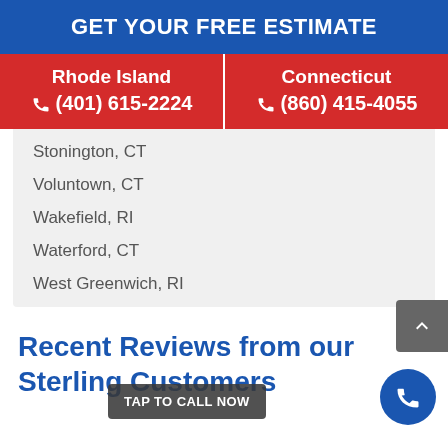GET YOUR FREE ESTIMATE
Rhode Island ☎ (401) 615-2224
Connecticut ☎ (860) 415-4055
Stonington, CT
Voluntown, CT
Wakefield, RI
Waterford, CT
West Greenwich, RI
Recent Reviews from our Sterling Customers
TAP TO CALL NOW